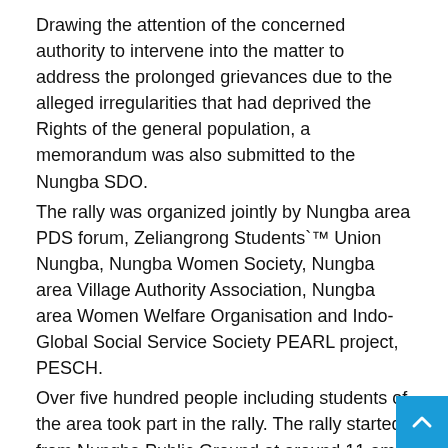Drawing the attention of the concerned authority to intervene into the matter to address the prolonged grievances due to the alleged irregularities that had deprived the Rights of the general population, a memorandum was also submitted to the Nungba SDO.
The rally was organized jointly by Nungba area PDS forum, Zeliangrong Students`™ Union Nungba, Nungba Women Society, Nungba area Village Authority Association, Nungba area Women Welfare Organisation and Indo-Global Social Service Society PEARL project, PESCH.
Over five hundred people including students of the area took part in the rally. The rally started from Nungba Public Ground at around 11 am.
A public meeting was also held at the public ground and unanimously adopted many charters of demand which later was submitted as memorandum to the SDO.
During the entire period of rally and meeting the whole Nun...